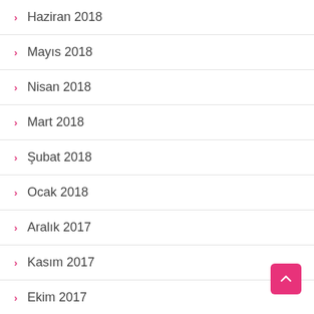Haziran 2018
Mayıs 2018
Nisan 2018
Mart 2018
Şubat 2018
Ocak 2018
Aralık 2017
Kasım 2017
Ekim 2017
Eylül 2017
Ağustos 2017